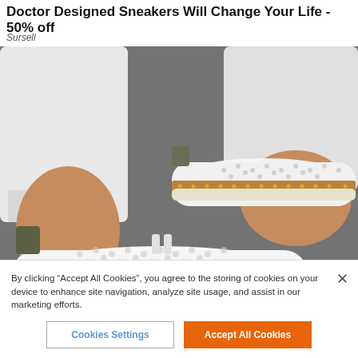Doctor Designed Sneakers Will Change Your Life - 50% off
Sursell
[Figure (photo): Close-up photo of a person wearing white perforated slip-on sneakers with tan/brown and gold stud trim sole, white jeans, on a grey pavement background.]
By clicking “Accept All Cookies”, you agree to the storing of cookies on your device to enhance site navigation, analyze site usage, and assist in our marketing efforts.
Cookies Settings
Accept All Cookies